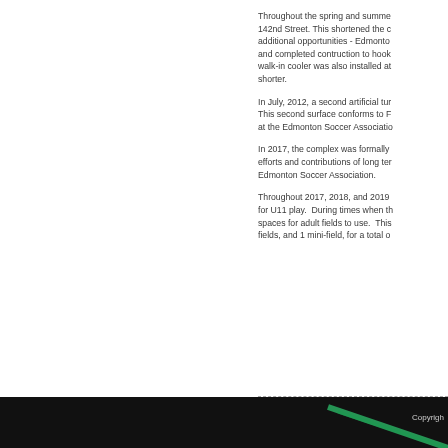Throughout the spring and summer, 142nd Street. This shortened the c additional opportunities - Edmonton and completed contruction to hook walk-in cooler was also installed at shorter.
In July, 2012, a second artificial tur This second surface conforms to F at the Edmonton Soccer Associatio
In 2017, the complex was formally efforts and contributions of long ter Edmonton Soccer Association.
Throughout 2017, 2018, and 2019 for U11 play.  During times when th spaces for adult fields to use.  This fields, and 1 mini-field, for a total o
Copyright